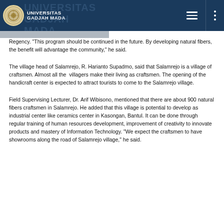Universitas Gadjah Mada
Regency. "This program should be continued in the future. By developing natural fibers, the benefit will advantage the community," he said.
The village head of Salamrejo, R. Harianto Supadmo, said that Salamrejo is a village of craftsmen. Almost all the villagers make their living as craftsmen. The opening of the handicraft center is expected to attract tourists to come to the Salamrejo village.
Field Supervising Lecturer, Dr. Arif Wibisono, mentioned that there are about 900 natural fibers craftsmen in Salamrejo. He added that this village is potential to develop as industrial center like ceramics center in Kasongan, Bantul. It can be done through regular training of human resources development, improvement of creativity to innovate products and mastery of Information Technology. "We expect the craftsmen to have showrooms along the road of Salamrejo village," he said.